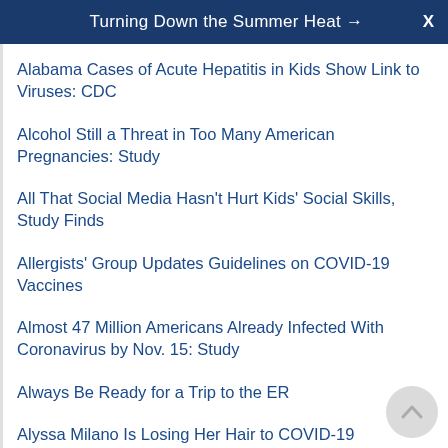Turning Down the Summer Heat →  X
Alabama Cases of Acute Hepatitis in Kids Show Link to Viruses: CDC
Alcohol Still a Threat in Too Many American Pregnancies: Study
All That Social Media Hasn't Hurt Kids' Social Skills, Study Finds
Allergists' Group Updates Guidelines on COVID-19 Vaccines
Almost 47 Million Americans Already Infected With Coronavirus by Nov. 15: Study
Always Be Ready for a Trip to the ER
Alyssa Milano Is Losing Her Hair to COVID-19
Alzheimer's Gene Linked to Severe COVID-19 Risk
Americans Got the Memo on Social Distancing, Poll